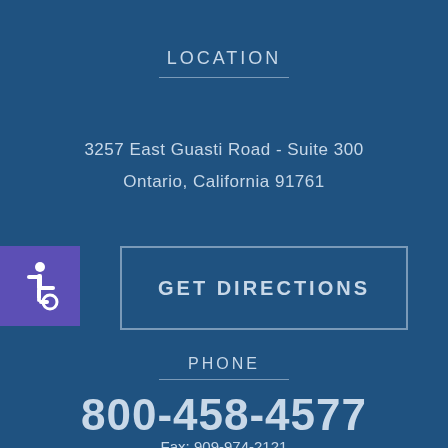LOCATION
3257 East Guasti Road - Suite 300
Ontario, California 91761
[Figure (other): Wheelchair accessibility icon — white wheelchair symbol on purple/indigo square background]
GET DIRECTIONS
PHONE
800-458-4577
Fax: 909-974-2121